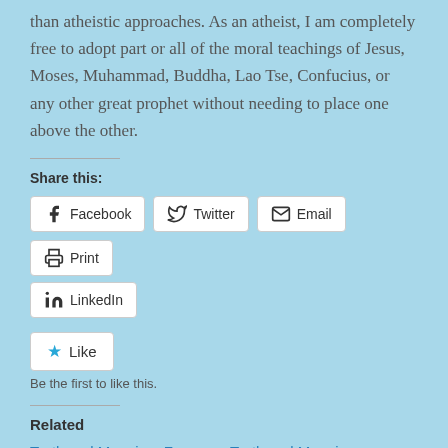than atheistic approaches. As an atheist, I am completely free to adopt part or all of the moral teachings of Jesus, Moses, Muhammad, Buddha, Lao Tse, Confucius, or any other great prophet without needing to place one above the other.
Share this:
Facebook  Twitter  Email  Print  LinkedIn
Like  Be the first to like this.
Related
Truth and Meaning: Fear of Flying    Truth and Meaning: Hijacking God